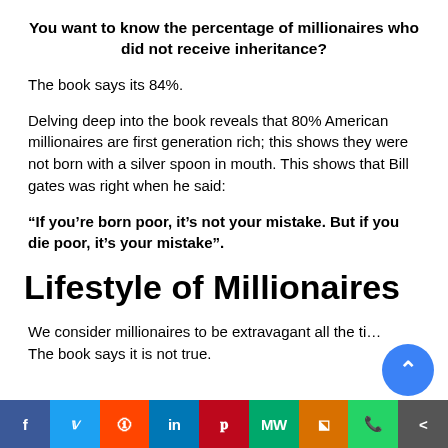You want to know the percentage of millionaires who did not receive inheritance?
The book says its 84%.
Delving deep into the book reveals that 80% American millionaires are first generation rich; this shows they were not born with a silver spoon in mouth. This shows that Bill gates was right when he said:
“If you’re born poor, it’s not your mistake. But if you die poor, it’s your mistake”.
Lifestyle of Millionaires
We consider millionaires to be extravagant all the time. The book says it is not true.